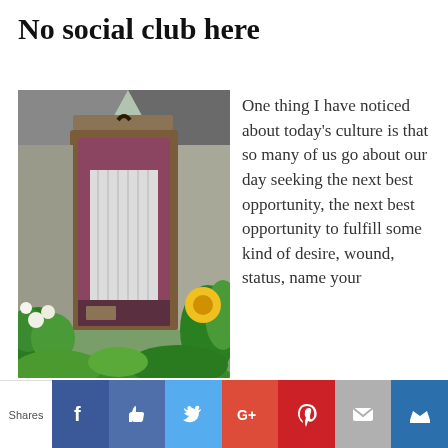No social club here
[Figure (photo): Photo of an old rustic wooden door with peeling purple/maroon paint, surrounded by lush green garden plants and flowers, with a weathered wooden frame and a horseshoe hook at the top.]
One thing I have noticed about today’s culture is that so many of us go about our day seeking the next best opportunity, the next best opportunity to fulfill some kind of desire, wound, status, name your
Shares [Facebook] [Like] [Twitter] [Google+] [Pinterest] [Email] [Crown]